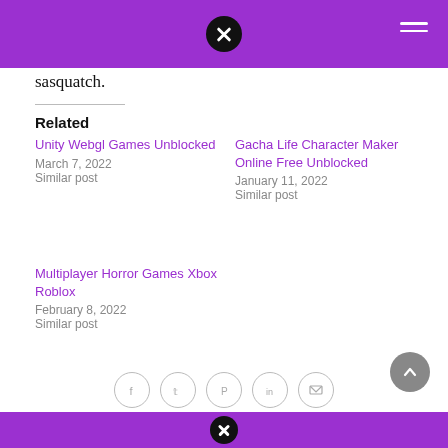sasquatch.
Related
Unity Webgl Games Unblocked
March 7, 2022
Similar post
Gacha Life Character Maker Online Free Unblocked
January 11, 2022
Similar post
Multiplayer Horror Games Xbox Roblox
February 8, 2022
Similar post